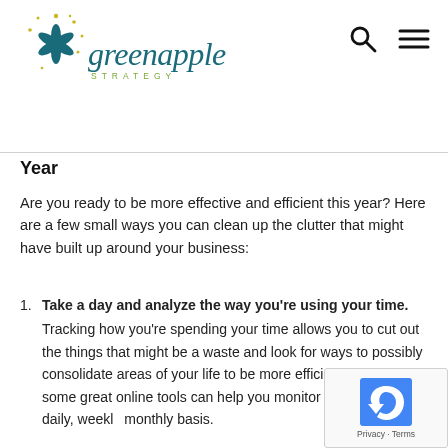Green Apple Strategy logo with navigation icons
Year
Are you ready to be more effective and efficient this year? Here are a few small ways you can clean up the clutter that might have built up around your business:
Take a day and analyze the way you're using your time. Tracking how you're spending your time allows you to cut out the things that might be a waste and look for ways to possibly consolidate areas of your life to be more efficient. There are some great online tools can help you monitor your time on a daily, weekly, monthly basis.